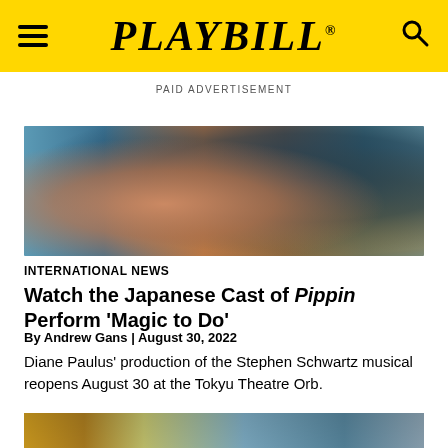PLAYBILL
PAID ADVERTISEMENT
[Figure (photo): Close-up photo of a Japanese performer from Pippin musical, showing face and upper body with chain necklace, bluish background]
INTERNATIONAL NEWS
Watch the Japanese Cast of Pippin Perform 'Magic to Do'
By Andrew Gans | August 30, 2022
Diane Paulus' production of the Stephen Schwartz musical reopens August 30 at the Tokyu Theatre Orb.
[Figure (photo): Photo of a theatre marquee showing 'Imperial' in gold letters and another theatre in the background]